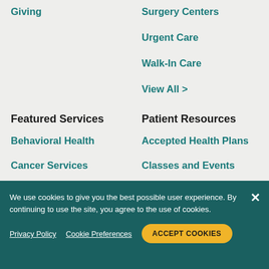Giving
Surgery Centers
Urgent Care
Walk-In Care
View All >
Featured Services
Patient Resources
Behavioral Health
Accepted Health Plans
Cancer Services
Classes and Events
Family Medicine
Estimate Costs
Home Health and ...
Health and Wellness
We use cookies to give you the best possible user experience. By continuing to use the site, you agree to the use of cookies.
Privacy Policy
Cookie Preferences
ACCEPT COOKIES